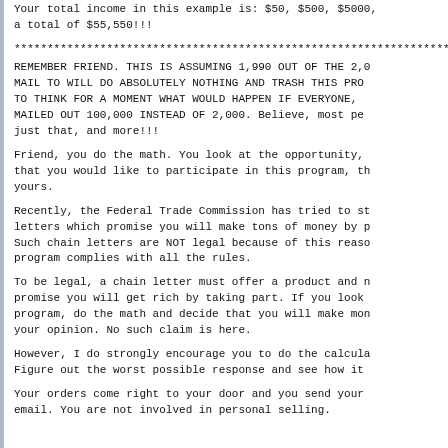Your total income in this example is: $50, $500, $5000, a total of $55,550!!!
********************************************************************************
REMEMBER FRIEND. THIS IS ASSUMING 1,990 OUT OF THE 2,000 YOU MAIL TO WILL DO ABSOLUTELY NOTHING AND TRASH THIS PROGRAM. STOP TO THINK FOR A MOMENT WHAT WOULD HAPPEN IF EVERYONE, OR MOST, MAILED OUT 100,000 INSTEAD OF 2,000. Believe, most people will do just that, and more!!!
Friend, you do the math. You look at the opportunity, and decide that you would like to participate in this program, the decision is yours.
Recently, the Federal Trade Commission has tried to stop chain letters which promise you will make tons of money by participating. Such chain letters are NOT legal because of this reason. This program complies with all the rules.
To be legal, a chain letter must offer a product and not just promise you will get rich by taking part. If you look at this program, do the math and decide that you will make money, that is your opinion. No such claim is here.
However, I do strongly encourage you to do the calculations. Figure out the worst possible response and see how it looks.
Your orders come right to your door and you send your orders by email. You are not involved in personal selling.